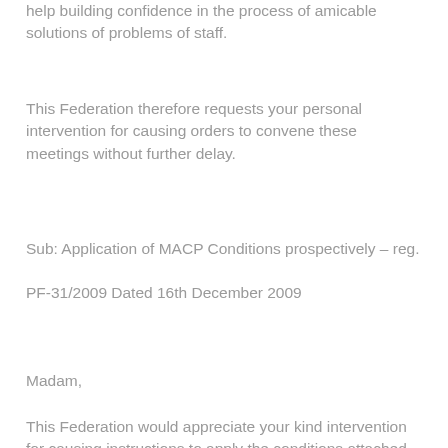help building confidence in the process of amicable solutions of problems of staff.
This Federation therefore requests your personal intervention for causing orders to convene these meetings without further delay.
Sub: Application of MACP Conditions prospectively – reg.
PF-31/2009 Dated 16th December 2009
Madam,
This Federation would appreciate your kind intervention for causing instructions to apply the conditions attached with the